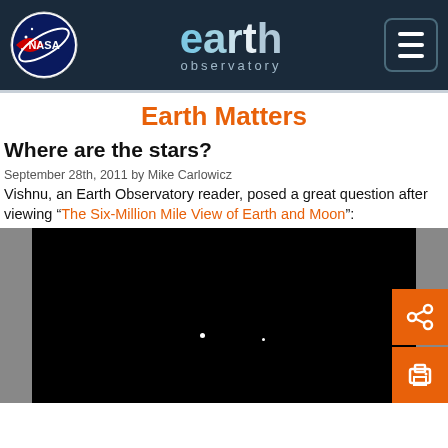NASA Earth Observatory
Earth Matters
Where are the stars?
September 28th, 2011 by Mike Carlowicz
Vishnu, an Earth Observatory reader, posed a great question after viewing “The Six-Million Mile View of Earth and Moon”:
[Figure (photo): Near-black space image showing Earth and Moon as tiny white dots against a dark background.]